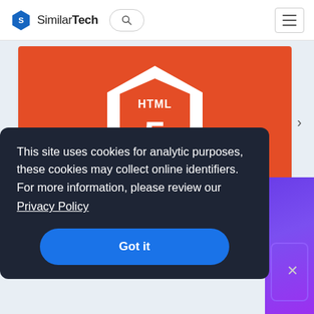SimilarTech
[Figure (screenshot): HTML5 logo on orange background — white hexagon shield with HTML5 shield icon and '5' numeral in orange]
HTML5 SVG Tag
Websites Using HTML5 SVG Tag
This site uses cookies for analytic purposes, these cookies may collect online identifiers. For more information, please review our Privacy Policy
Got it